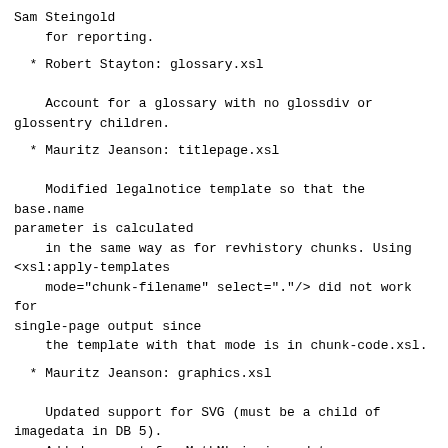Sam Steingold
    for reporting.
* Robert Stayton: glossary.xsl

    Account for a glossary with no glossdiv or glossentry children.
* Mauritz Jeanson: titlepage.xsl

    Modified legalnotice template so that the base.name parameter is calculated
    in the same way as for revhistory chunks. Using <xsl:apply-templates
    mode="chunk-filename" select="."/> did not work for single-page output since
    the template with that mode is in chunk-code.xsl.
* Mauritz Jeanson: graphics.xsl

    Updated support for SVG (must be a child of imagedata in DB 5).
    Added support for MathML in imagedata.
* Mauritz Jeanson: pi.xsl

    Added documentation for the dbhh PI (used for context-sensitive HTML Help).
    (The two templates matching 'dbhh' are still in htmlhelp-common.xsl).